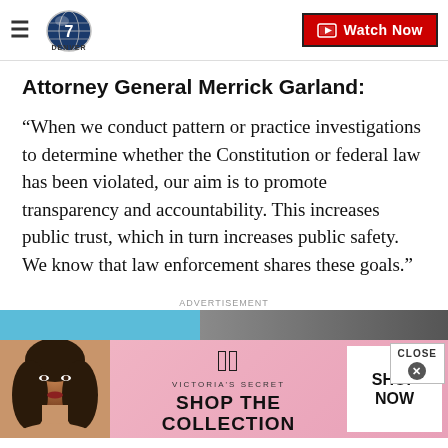Denver 7 — Watch Now
Attorney General Merrick Garland:
“When we conduct pattern or practice investigations to determine whether the Constitution or federal law has been violated, our aim is to promote transparency and accountability. This increases public trust, which in turn increases public safety. We know that law enforcement shares these goals.”
ADVERTISEMENT
[Figure (photo): Victoria's Secret advertisement banner with a woman model, VS logo, 'SHOP THE COLLECTION' text, and a 'SHOP NOW' white button. A CLOSE button appears in the top right.]